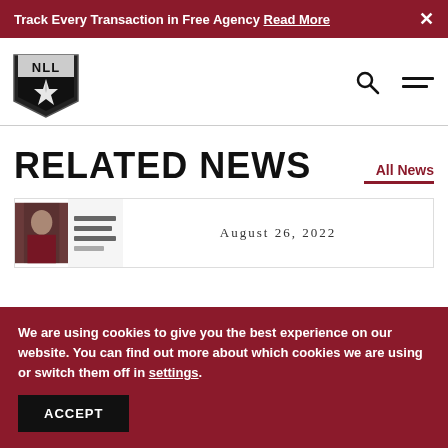Track Every Transaction in Free Agency Read More
[Figure (logo): NLL shield logo with star/compass design, black and silver]
RELATED NEWS
All News
[Figure (photo): News article thumbnail showing a lacrosse player with text lines]
August 26, 2022
We are using cookies to give you the best experience on our website. You can find out more about which cookies we are using or switch them off in settings.
ACCEPT